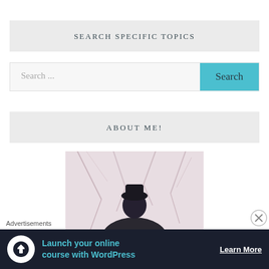SEARCH SPECIFIC TOPICS
Search ...
Search
ABOUT ME!
[Figure (photo): Circular cropped photo showing a person from behind wearing a dark jacket and hat, surrounded by bare winter trees with light-colored branches]
Advertisements
Launch your online course with WordPress
Learn More